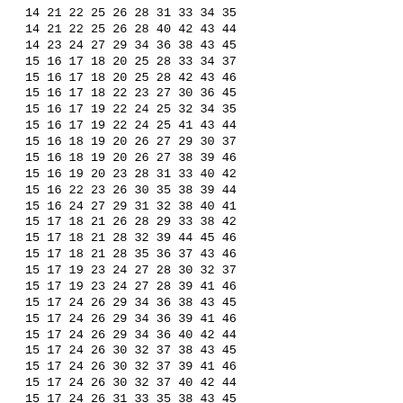14 21 22 25 26 28 31 33 34 35
14 21 22 25 26 28 40 42 43 44
14 23 24 27 29 34 36 38 43 45
15 16 17 18 20 25 28 33 34 37
15 16 17 18 20 25 28 42 43 46
15 16 17 18 22 23 27 30 36 45
15 16 17 19 22 24 25 32 34 35
15 16 17 19 22 24 25 41 43 44
15 16 18 19 20 26 27 29 30 37
15 16 18 19 20 26 27 38 39 46
15 16 19 20 23 28 31 33 40 42
15 16 22 23 26 30 35 38 39 44
15 16 24 27 29 31 32 38 40 41
15 17 18 21 26 28 29 33 38 42
15 17 18 21 28 32 39 44 45 46
15 17 18 21 28 35 36 37 43 46
15 17 19 23 24 27 28 30 32 37
15 17 19 23 24 27 28 39 41 46
15 17 24 26 29 34 36 38 43 45
15 17 24 26 29 34 36 39 41 46
15 17 24 26 29 34 36 40 42 44
15 17 24 26 30 32 37 38 43 45
15 17 24 26 30 32 37 39 41 46
15 17 24 26 30 32 37 40 42 44
15 17 24 26 31 33 35 38 43 45
15 17 24 26 31 33 35 39 41 46
15 17 24 26 31 33 35 40 42 44
15 18 21 23 29 30 31 33 34 36
15 18 21 23 38 39 40 42 43 45
15 18 21 25 27 28 30 31 37 40